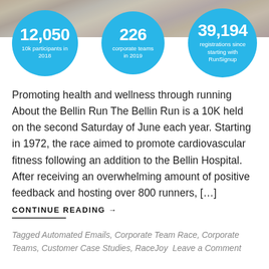[Figure (photo): Race participants photo banner at top of page with crowd of runners]
[Figure (infographic): Three blue circles with statistics: 12,050 (10k participants in 2018), 226 (corporate teams in 2019), 39,194 (registrations since starting with RunSignup)]
Promoting health and wellness through running About the Bellin Run The Bellin Run is a 10K held on the second Saturday of June each year. Starting in 1972, the race aimed to promote cardiovascular fitness following an addition to the Bellin Hospital. After receiving an overwhelming amount of positive feedback and hosting over 800 runners, […]
CONTINUE READING →
Tagged Automated Emails, Corporate Team Race, Corporate Teams, Customer Case Studies, RaceJoy  Leave a Comment